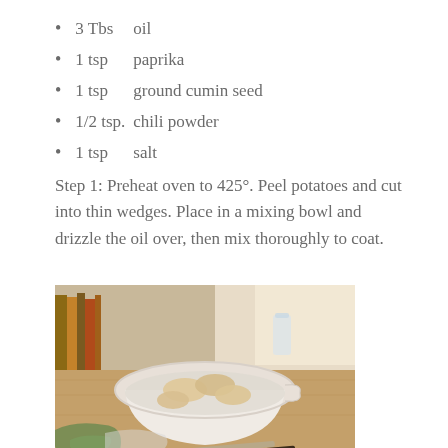3 Tbs   oil
1 tsp   paprika
1 tsp   ground cumin seed
1/2 tsp. chili powder
1 tsp   salt
Step 1: Preheat oven to 425°. Peel potatoes and cut into thin wedges. Place in a mixing bowl and drizzle the oil over, then mix thoroughly to coat.
[Figure (photo): A white mixing bowl containing potato wedges in water on a wooden cutting board, with books and kitchen items in the background, and a knife in the foreground.]